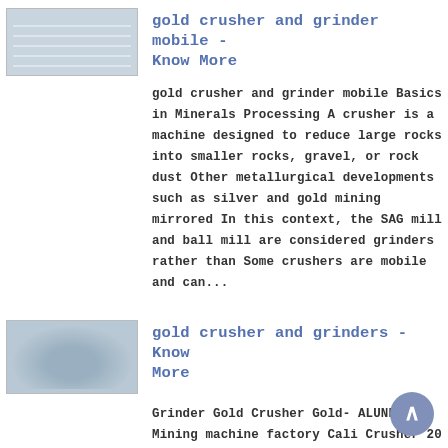[Figure (photo): Thumbnail image of gold crusher machine, light blue/grey tones]
gold crusher and grinder mobile - Know More
gold crusher and grinder mobile Basics in Minerals Processing A crusher is a machine designed to reduce large rocks into smaller rocks, gravel, or rock dust Other metallurgical developments such as silver and gold mining mirrored In this context, the SAG mill and ball mill are considered grinders rather than Some crushers are mobile and can...
[Figure (photo): Thumbnail image of gold crusher and grinder equipment]
gold crusher and grinders - Know More
Grinder Gold Crusher Gold- ALUNETH Mining machine factory Cali Crusher 20